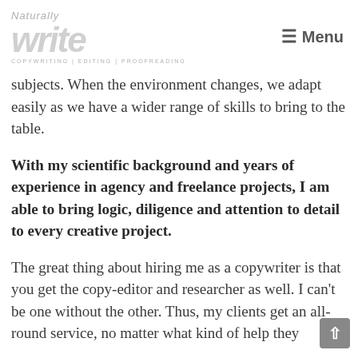Naturally Write — COPYWRITING | EDITING | PROOFREADING — Menu
subjects. When the environment changes, we adapt easily as we have a wider range of skills to bring to the table.
With my scientific background and years of experience in agency and freelance projects, I am able to bring logic, diligence and attention to detail to every creative project.
The great thing about hiring me as a copywriter is that you get the copy-editor and researcher as well. I can't be one without the other. Thus, my clients get an all-round service, no matter what kind of help they